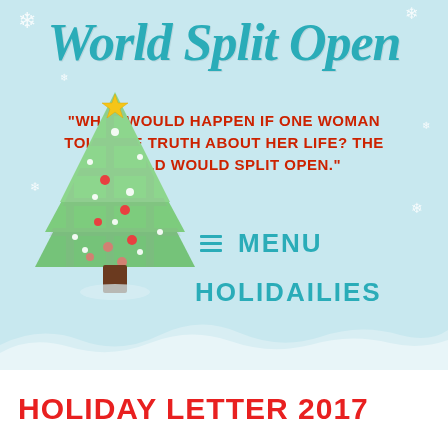World Split Open
"WHAT WOULD HAPPEN IF ONE WOMAN TOLD THE TRUTH ABOUT HER LIFE? THE WORLD WOULD SPLIT OPEN."
≡ MENU
[Figure (illustration): Christmas tree illustration with star on top, decorated with ornaments and lights, sitting on snow ground with Holidailies text logo below it]
HOLIDAY LETTER 2017